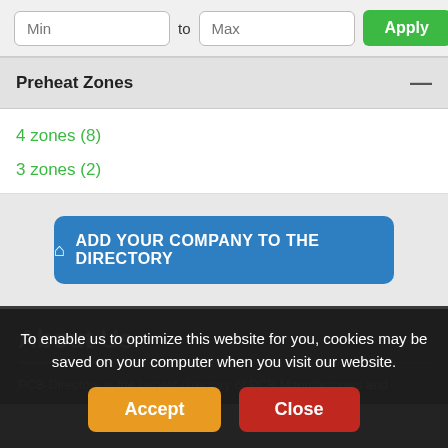Min to Max Apply
Preheat Zones
4 zones (8)
3 zones (2)
ADD YOUR COMPANY TO THE DIRECTORY
About Us
PCB Directory is the largest directory of PCB Manufacturers and
To enable us to optimize this website for you, cookies may be saved on your computer when you visit our website.
Accept   Close